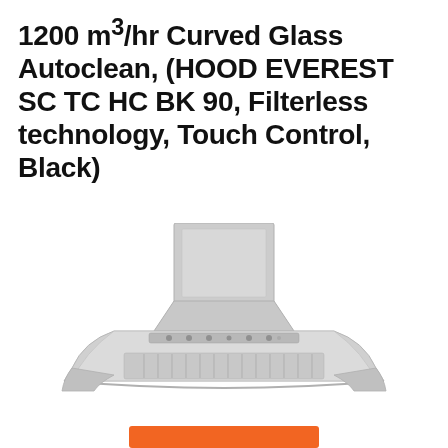1200 m³/hr Curved Glass Autoclean, (HOOD EVEREST SC TC HC BK 90, Filterless technology, Touch Control, Black)
[Figure (photo): A curved glass kitchen chimney/range hood with black and silver finish, shown in a front-angled view. It has a rectangular upper chimney section and a wide curved bottom hood with a glass panel and grille.]